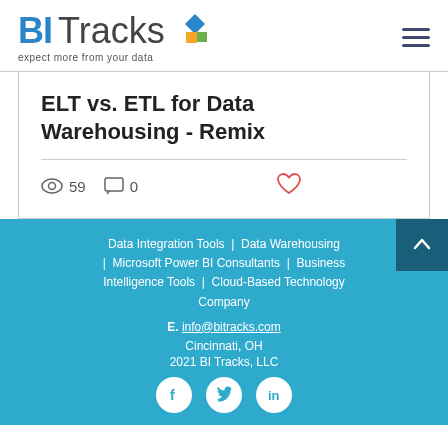[Figure (logo): BI Tracks logo with diamond shape and tagline 'expect more from your data']
ELT vs. ETL for Data Warehousing - Remix
59 views  0 comments  like
Data Integration Tools | Data Warehousing | Microsoft Power BI Consultants | Business Intelligence Tools | Cloud-Based Technology Company
E. info@bitracks.com
Cincinnati, OH
2021 BI Tracks, LLC